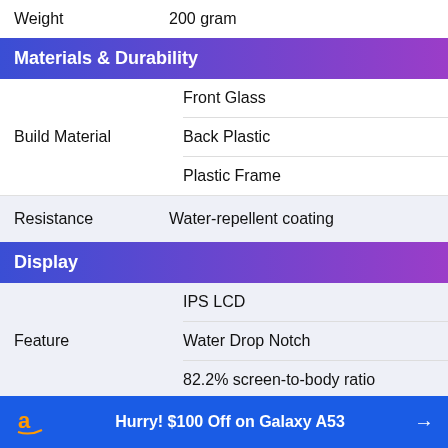| Weight | 200 gram |
| Build Material | Front Glass | Back Plastic | Plastic Frame |
| Resistance | Water-repellent coating |
| Feature | IPS LCD | Water Drop Notch | 82.2% screen-to-body ratio |
Materials & Durability
Display
Hurry! $100 Off on Galaxy A53